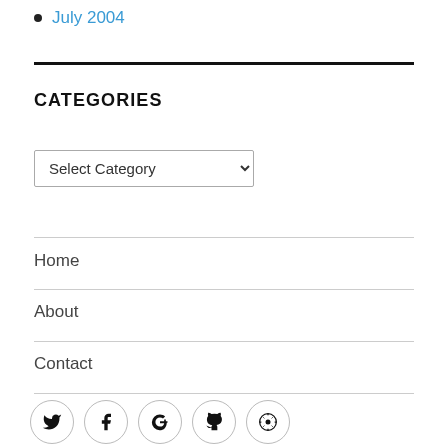July 2004
CATEGORIES
Select Category (dropdown)
Home
About
Contact
[Figure (infographic): Row of five social media icon buttons in circles: Twitter, Facebook, Google+, GitHub, WordPress]